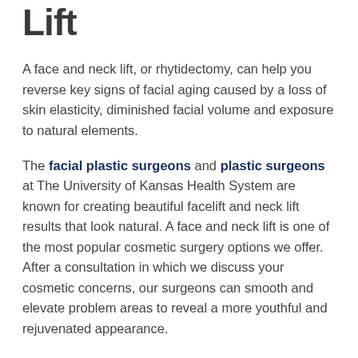Lift
A face and neck lift, or rhytidectomy, can help you reverse key signs of facial aging caused by a loss of skin elasticity, diminished facial volume and exposure to natural elements.
The facial plastic surgeons and plastic surgeons at The University of Kansas Health System are known for creating beautiful facelift and neck lift results that look natural. A face and neck lift is one of the most popular cosmetic surgery options we offer. After a consultation in which we discuss your cosmetic concerns, our surgeons can smooth and elevate problem areas to reveal a more youthful and rejuvenated appearance.
What is a facelift and neck lift?